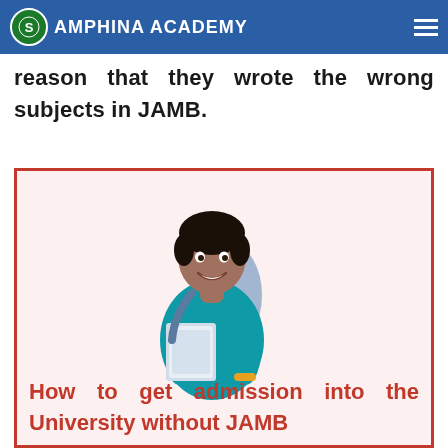Amphina Academy
disqualified from gaining admission to study Computer Science / Mathematics for the simple reason that they wrote the wrong subjects in JAMB.
[Figure (photo): Smiling young male student wearing a teal t-shirt, carrying a backpack and holding books, posing against a white/light background.]
How to get admission into the University without JAMB